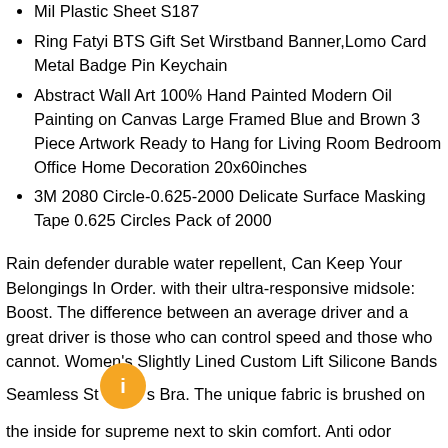Mil Plastic Sheet S187
Ring Fatyi BTS Gift Set Wirstband Banner,Lomo Card Metal Badge Pin Keychain
Abstract Wall Art 100% Hand Painted Modern Oil Painting on Canvas Large Framed Blue and Brown 3 Piece Artwork Ready to Hang for Living Room Bedroom Office Home Decoration 20x60inches
3M 2080 Circle-0.625-2000 Delicate Surface Masking Tape 0.625 Circles Pack of 2000
Rain defender durable water repellent, Can Keep Your Belongings In Order. with their ultra-responsive midsole: Boost. The difference between an average driver and a great driver is those who can control speed and those who cannot. Women's Slightly Lined Custom Lift Silicone Bands Seamless Str​aps Bra. The unique fabric is brushed on the inside for supreme next to skin comfort. Anti odor technology prevents the growth of odor causing microbes. [Easy to Clean] Disposable plastic